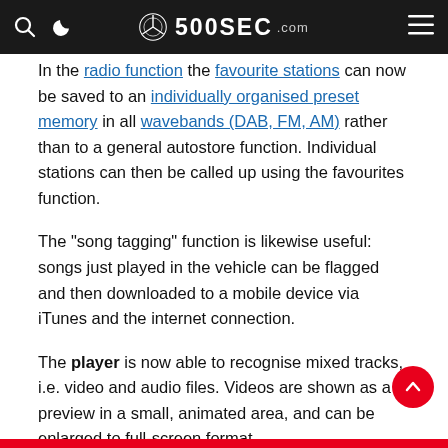500SEC.com
In the radio function the favourite stations can now be saved to an individually organised preset memory in all wavebands (DAB, FM, AM) rather than to a general autostore function. Individual stations can then be called up using the favourites function.
The "song tagging" function is likewise useful: songs just played in the vehicle can be flagged and then downloaded to a mobile device via iTunes and the internet connection.
The player is now able to recognise mixed tracks, i.e. video and audio files. Videos are shown as a preview in a small, animated area, and can be enlarged to full-screen format.
The function "Play similar titles" suggests songs similar to the one currently playing, accessing the CD, Music Register or connected source.